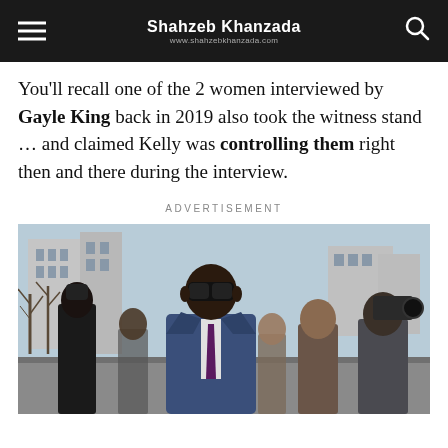Shahzeb Khanzada — www.shahzebkhanzada.com
You'll recall one of the 2 women interviewed by Gayle King back in 2019 also took the witness stand … and claimed Kelly was controlling them right then and there during the interview.
ADVERTISEMENT
[Figure (photo): A man in a blue suit and large dark sunglasses (R. Kelly) walking outside, surrounded by people including someone with a camera, with bare winter trees and buildings in the background.]